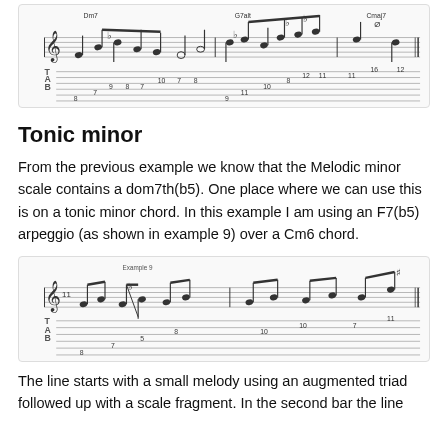[Figure (illustration): Guitar tablature and music notation showing a jazz lick over Dm7, G7alt, Cmaj7 chord changes with tab numbers on 6 strings]
Tonic minor
From the previous example we know that the Melodic minor scale contains a dom7th(b5). One place where we can use this is on a tonic minor chord. In this example I am using an F7(b5) arpeggio (as shown in example 9) over a Cm6 chord.
[Figure (illustration): Guitar tablature and music notation labeled Example 9 showing an F7(b5) arpeggio line with tab numbers]
The line starts with a small melody using an augmented triad followed up with a scale fragment. In the second bar the line